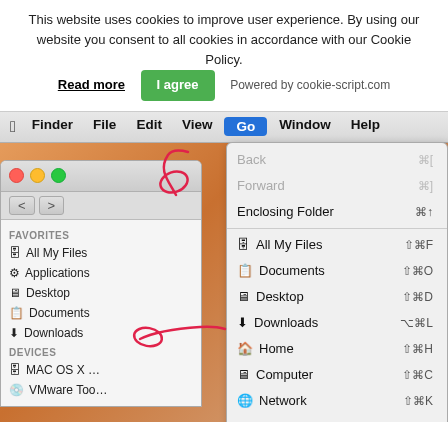This website uses cookies to improve user experience. By using our website you consent to all cookies in accordance with our Cookie Policy.
Read more   I agree   Powered by cookie-script.com
[Figure (screenshot): macOS Finder screen showing the Go menu open with Utilities highlighted, and a Finder sidebar window visible. Hand-drawn pink annotations point to the Go menu item in the menubar and Utilities in the dropdown.]